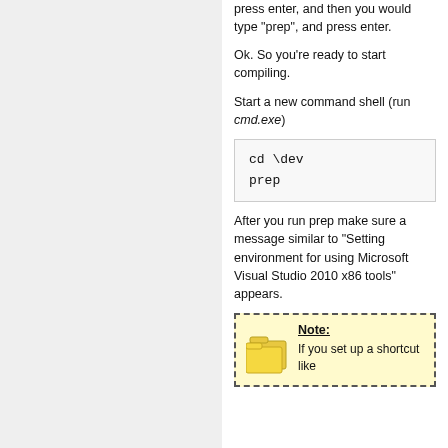press enter, and then you would type "prep", and press enter.
Ok. So you're ready to start compiling.
Start a new command shell (run cmd.exe)
cd \dev
prep
After you run prep make sure a message similar to "Setting environment for using Microsoft Visual Studio 2010 x86 tools" appears.
Note: If you set up a shortcut like